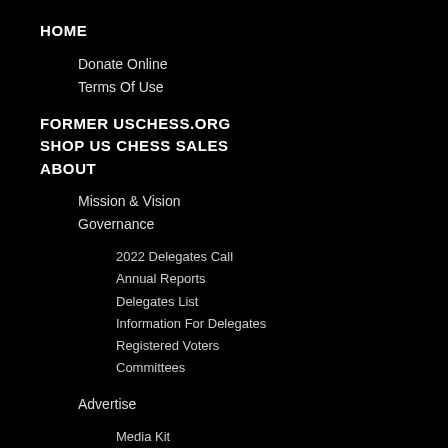HOME
Donate Online
Terms Of Use
FORMER USCHESS.ORG
SHOP US CHESS SALES
ABOUT
Mission & Vision
Governance
2022 Delegates Call
Annual Reports
Delegates List
Information For Delegates
Registered Voters
Committees
Advertise
Media Kit
Staff/Contact Us